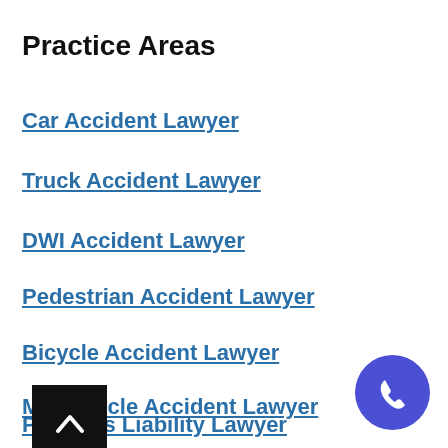Practice Areas
Car Accident Lawyer
Truck Accident Lawyer
DWI Accident Lawyer
Pedestrian Accident Lawyer
Bicycle Accident Lawyer
Motorcycle Accident Lawyer
Premises Liability Lawyer
Dog Bite Lawyer